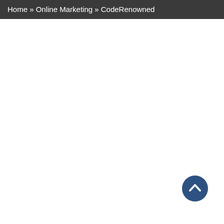Home » Online Marketing » CodeRenowned
[Figure (other): Back to top button — circular dark blue button with upward chevron arrow, positioned bottom-right of the page]